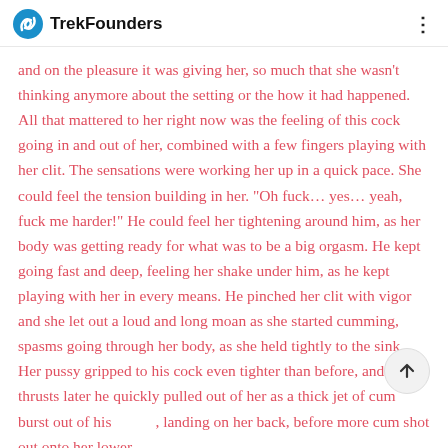TrekFounders
and on the pleasure it was giving her, so much that she wasn't thinking anymore about the setting or the how it had happened. All that mattered to her right now was the feeling of this cock going in and out of her, combined with a few fingers playing with her clit. The sensations were working her up in a quick pace. She could feel the tension building in her. “Oh fuck… yes… yeah, fuck me harder!” He could feel her tightening around him, as her body was getting ready for what was to be a big orgasm. He kept going fast and deep, feeling her shake under him, as he kept playing with her in every means. He pinched her clit with vigor and she let out a loud and long moan as she started cumming, spasms going through her body, as she held tightly to the sink. Her pussy gripped to his cock even tighter than before, and a few thrusts later he quickly pulled out of her as a thick jet of cum burst out of his , landing on her back, before more cum shot out onto her lower